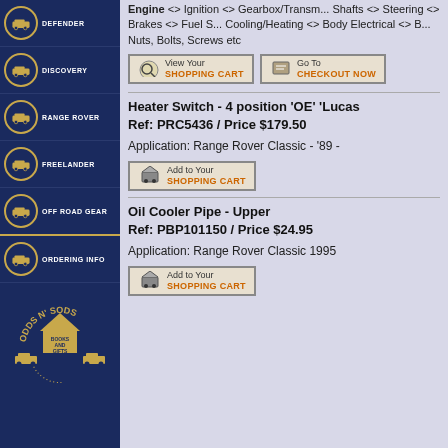DEFENDER
DISCOVERY
RANGE ROVER
FREELANDER
OFF ROAD GEAR
ORDERING INFO
[Figure (logo): Odds N' Sods Books and Gifts logo with Land Rover vehicles]
Engine <> Ignition <> Gearbox/Trans... Shafts <> Steering <> Brakes <> Fuel S... Cooling/Heating <> Body Electrical <> B... Nuts, Bolts, Screws etc
[Figure (other): View Your Shopping Cart button]
[Figure (other): Go To Checkout Now button]
Heater Switch - 4 position 'OE' 'Lucas Ref: PRC5436 / Price $179.50
Application: Range Rover Classic - '89 -
[Figure (other): Add to Your Shopping Cart button]
Oil Cooler Pipe - Upper
Ref: PBP101150 / Price $24.95
Application: Range Rover Classic 1995
[Figure (other): Add to Your Shopping Cart button]